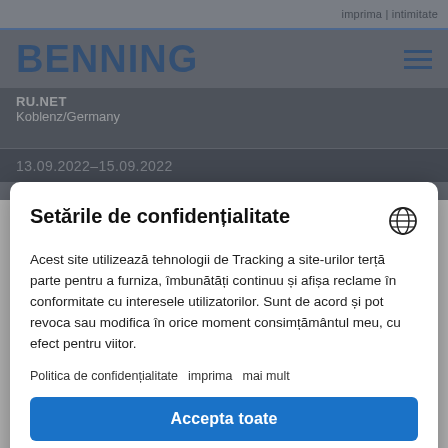[Figure (screenshot): BENNING website header with logo, navigation hamburger menu, RU.NET / Koblenz/Germany subtitle, and date 13.09.2022–15.09.2022]
Setările de confidențialitate
Acest site utilizează tehnologii de Tracking a site-urilor terță parte pentru a furniza, îmbunătăți continuu și afișa reclame în conformitate cu interesele utilizatorilor. Sunt de acord și pot revoca sau modifica în orice moment consimțământul meu, cu efect pentru viitor.
Politica de confidențialitate   imprima   mai mult
Accepta toate
Refuzați
Powered by Usercentrics Consent Management